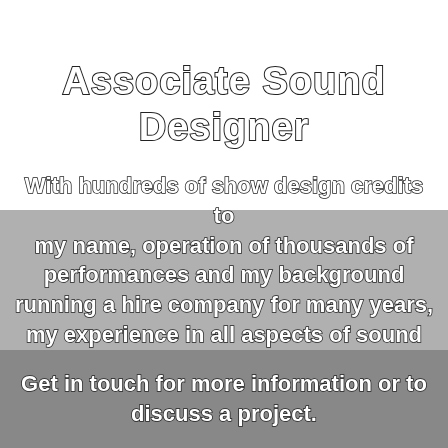Associate Sound Designer
With hundreds of show design credits to my name, operation of thousands of performances and my background running a hire company for many years, my experience in all aspects of sound will be a valuable addition to the design team.
Get in touch for more information or to discuss a project.